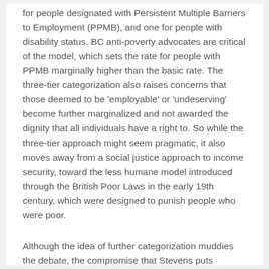for people designated with Persistent Multiple Barriers to Employment (PPMB), and one for people with disability status. BC anti-poverty advocates are critical of the model, which sets the rate for people with PPMB marginally higher than the basic rate. The three-tier categorization also raises concerns that those deemed to be 'employable' or 'undeserving' become further marginalized and not awarded the dignity that all individuals have a right to. So while the three-tier approach might seem pragmatic, it also moves away from a social justice approach to income security, toward the less humane model introduced through the British Poor Laws in the early 19th century, which were designed to punish people who were poor.
Although the idea of further categorization muddies the debate, the compromise that Stevens puts forward is an honest attempt to seek ways to reduce the number of